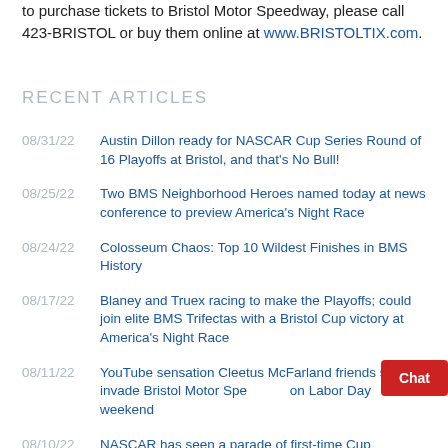to purchase tickets to Bristol Motor Speedway, please call 423-BRISTOL or buy them online at www.BRISTOLTIX.com.
RECENT ARTICLES
08/31/22 Austin Dillon ready for NASCAR Cup Series Round of 16 Playoffs at Bristol, and that's No Bull!
08/25/22 Two BMS Neighborhood Heroes named today at news conference to preview America's Night Race
08/24/22 Colosseum Chaos: Top 10 Wildest Finishes in BMS History
08/17/22 Blaney and Truex racing to make the Playoffs; could join elite BMS Trifectas with a Bristol Cup victory at America's Night Race
08/11/22 YouTube sensation Cleetus McFarland friends set to invade Bristol Motor Speedway on Labor Day weekend
08/10/22 NASCAR has seen a parade of first-time Cup